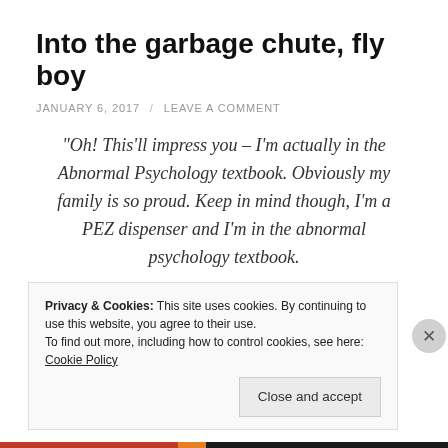Into the garbage chute, fly boy
JANUARY 6, 2017 / LEAVE A COMMENT
“Oh! This’ll impress you – I’m actually in the Abnormal Psychology textbook. Obviously my family is so proud. Keep in mind though, I’m a PEZ dispenser and I’m in the abnormal psychology textbook.

Who says you can’t have it all?”
Privacy & Cookies: This site uses cookies. By continuing to use this website, you agree to their use.
To find out more, including how to control cookies, see here: Cookie Policy